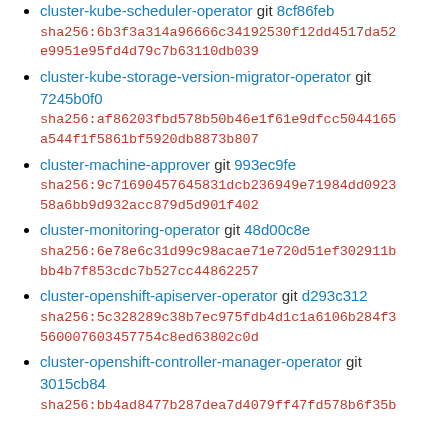cluster-kube-scheduler-operator git 8cf86feb sha256:6b3f3a314a96666c34192530f12dd4517da52e9951e95fd4d79c7b63110db039
cluster-kube-storage-version-migrator-operator git 7245b0f0 sha256:af86203fbd578b50b46e1f61e9dfcc5044165a544f1f5861bf5920db8873b807
cluster-machine-approver git 993ec9fe sha256:9c71690457645831dcb236949e71984dd092358a6bb9d932acc879d5d901f402
cluster-monitoring-operator git 48d00c8e sha256:6e78e6c31d99c98acae71e720d51ef302911bbb4b7f853cdc7b527cc44862257
cluster-openshift-apiserver-operator git d293c312 sha256:5c328289c38b7ec975fdb4d1c1a6106b284f3560007603457754c8ed63802c0d
cluster-openshift-controller-manager-operator git 3015cb84 sha256:bb4ad8477b287dea7d4079ff47fd578b6f35b